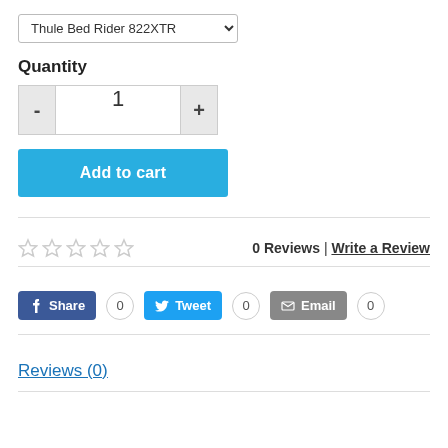Thule Bed Rider 822XTR (dropdown selector)
Quantity
- 1 + (quantity controls)
Add to cart
0 Reviews | Write a Review (5 empty stars)
Share 0   Tweet 0   Email 0 (social share buttons)
Reviews (0)